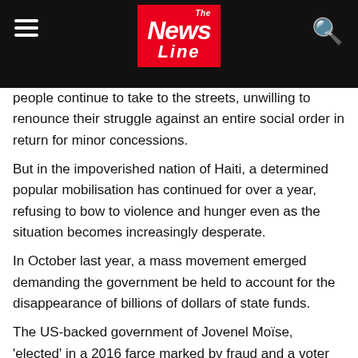The News Line
people continue to take to the streets, unwilling to renounce their struggle against an entire social order in return for minor concessions.
But in the impoverished nation of Haiti, a determined popular mobilisation has continued for over a year, refusing to bow to violence and hunger even as the situation becomes increasingly desperate.
In October last year, a mass movement emerged demanding the government be held to account for the disappearance of billions of dollars of state funds.
The US-backed government of Jovenel Moïse, 'elected' in a 2016 farce marked by fraud and a voter turnout of less than 20%, has responded only with relentless violence.
Moïse and his family and cronies are directly implicated in massive corruption and the organisation of paramilitary violence, generally ascribed to 'gangs' but organised in the